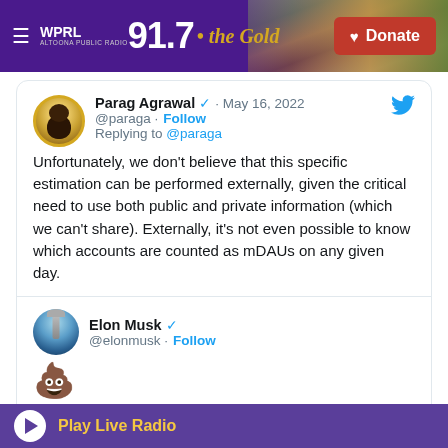WPRL 91.7 The Gold | Donate
[Figure (screenshot): Embedded tweet from Parag Agrawal (@paraga), May 16 2022, replying to @paraga: 'Unfortunately, we don't believe that this specific estimation can be performed externally, given the critical need to use both public and private information (which we can't share). Externally, it's not even possible to know which accounts are counted as mDAUs on any given day.']
[Figure (screenshot): Embedded tweet from Elon Musk (@elonmusk) with poop emoji, 5:03 PM May 16 2022, 56K likes]
Play Live Radio